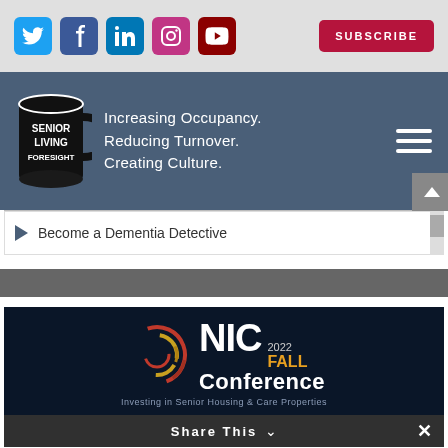[Figure (screenshot): Social media icons: Twitter (blue), Facebook (dark blue), LinkedIn (blue), Instagram (pink), YouTube (dark red), and a red SUBSCRIBE button]
[Figure (logo): Senior Living Foresight logo: black mug with text 'SENIOR LIVING FORESIGHT' and tagline 'Increasing Occupancy. Reducing Turnover. Creating Culture.' on dark blue-gray background with hamburger menu icon]
Become a Dementia Detective
[Figure (screenshot): NIC 2022 Fall Conference logo: 'Investing in Senior Housing & Care Properties' on dark navy background]
Share This